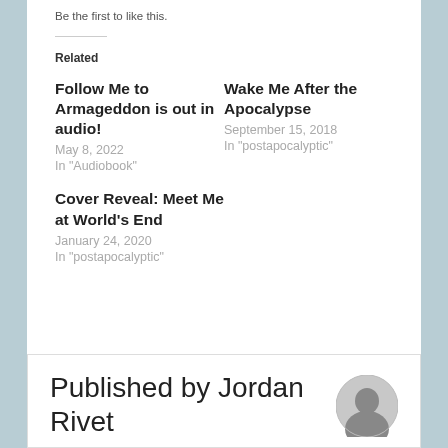Be the first to like this.
Related
Follow Me to Armageddon is out in audio!
May 8, 2022
In "Audiobook"
Wake Me After the Apocalypse
September 15, 2018
In "postapocalyptic"
Cover Reveal: Meet Me at World's End
January 24, 2020
In "postapocalyptic"
Published by Jordan Rivet
[Figure (photo): Circular author photo of Jordan Rivet, black and white]